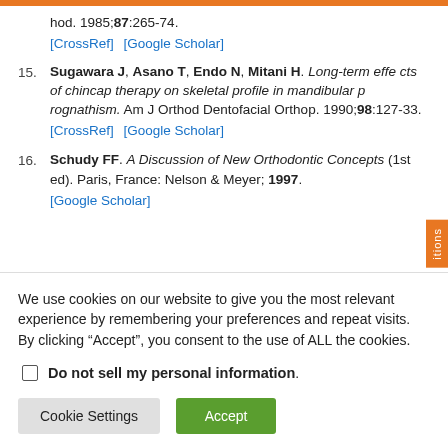hod. 1985;87:265-74. [CrossRef] [Google Scholar]
15. Sugawara J, Asano T, Endo N, Mitani H. Long-term effects of chincap therapy on skeletal profile in mandibular prognathism. Am J Orthod Dentofacial Orthop. 1990;98:127-33. [CrossRef] [Google Scholar]
16. Schudy FF. A Discussion of New Orthodontic Concepts (1st ed). Paris, France: Nelson & Meyer; 1997. [Google Scholar]
We use cookies on our website to give you the most relevant experience by remembering your preferences and repeat visits. By clicking "Accept", you consent to the use of ALL the cookies.
Do not sell my personal information.